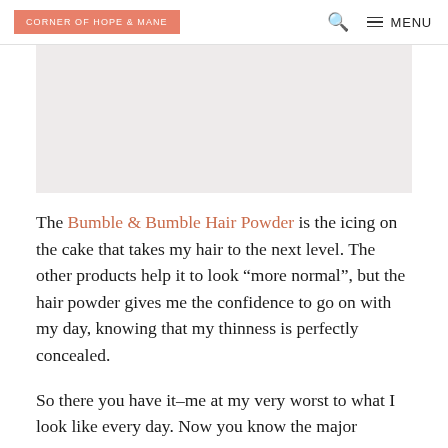CORNER OF HOPE & MANE
[Figure (photo): Light grey rectangular image placeholder area]
The Bumble & Bumble Hair Powder is the icing on the cake that takes my hair to the next level. The other products help it to look “more normal”, but the hair powder gives me the confidence to go on with my day, knowing that my thinness is perfectly concealed.
So there you have it–me at my very worst to what I look like every day. Now you know the major